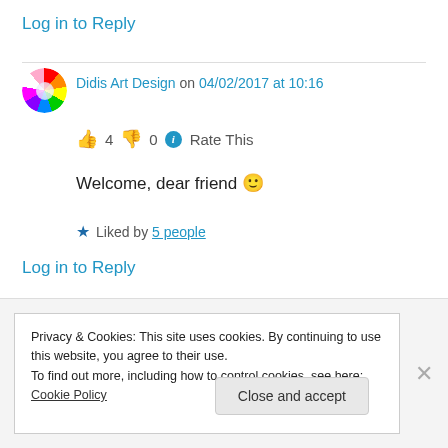Log in to Reply
Didis Art Design on 04/02/2017 at 10:16
👍 4 👎 0 ℹ Rate This
Welcome, dear friend 🙂
★ Liked by 5 people
Log in to Reply
Privacy & Cookies: This site uses cookies. By continuing to use this website, you agree to their use.
To find out more, including how to control cookies, see here: Cookie Policy
Close and accept